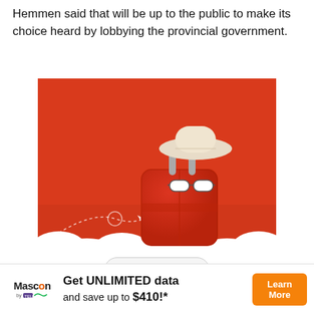Hemmen said that will be up to the public to make its choice heard by lobbying the provincial government.
[Figure (illustration): Advertisement image showing a red suitcase with sunglasses and a straw hat on a red background with white clouds at the bottom, dotted travel path lines and a cursor arrow.]
Read More
◄ Previous    Next ►
[Figure (infographic): Mascon by TELUS banner advertisement: Get UNLIMITED data and save up to $410!* with a Learn More button]